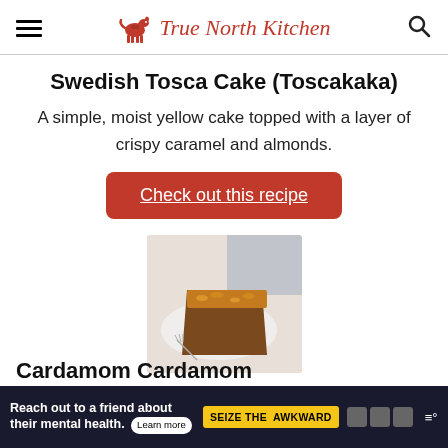True North Kitchen
Swedish Tosca Cake (Toscakaka)
A simple, moist yellow cake topped with a layer of crispy caramel and almonds.
Check out this recipe
[Figure (photo): A slice of Swedish Tosca Cake on a white plate with a fork, caramel almond topping visible, gray cloth in background]
Reach out to a friend about their mental health. Learn more | SEIZE THE AWKWARD